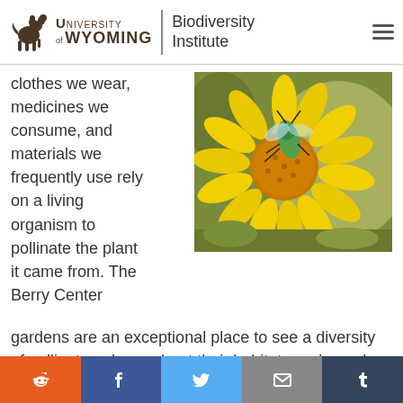University of Wyoming | Biodiversity Institute
clothes we wear, medicines we consume, and materials we frequently use rely on a living organism to pollinate the plant it came from. The Berry Center gardens are an exceptional place to see a diversity of pollinators, learn about their habitat needs, and get a close-up view of the the co-evolutionary adaptations that have produced the wealth of plant and insect diversity. See more about our pollinator education
[Figure (photo): Close-up photograph of a metallic green bee (sweat bee) on a bright yellow daisy-like flower, with blurred green foliage in the background.]
Social sharing buttons: Reddit, Facebook, Twitter, Email, Tumblr